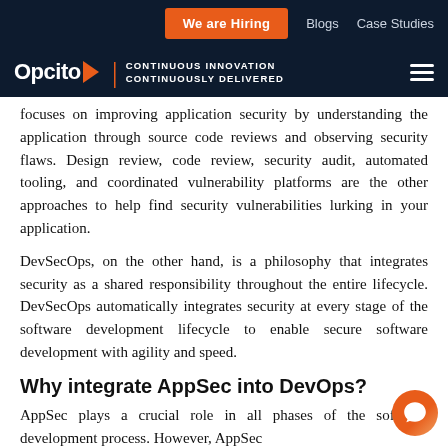We are Hiring | Blogs | Case Studies
[Figure (logo): Opcito logo with orange arrow and tagline 'CONTINUOUS INNOVATION CONTINUOUSLY DELIVERED' on dark navy background with hamburger menu]
focuses on improving application security by understanding the application through source code reviews and observing security flaws. Design review, code review, security audit, automated tooling, and coordinated vulnerability platforms are the other approaches to help find security vulnerabilities lurking in your application.
DevSecOps, on the other hand, is a philosophy that integrates security as a shared responsibility throughout the entire lifecycle. DevSecOps automatically integrates security at every stage of the software development lifecycle to enable secure software development with agility and speed.
Why integrate AppSec into DevOps?
AppSec plays a crucial role in all phases of the software development process. However, AppSec